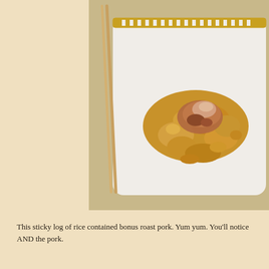[Figure (photo): A photograph of a sticky rice log with roast pork on a white square plate with gold Greek key border pattern. Chopsticks are visible on the left side of the plate.]
This sticky log of rice contained bonus roast pork. Yum yum. You'll notice AND the pork.